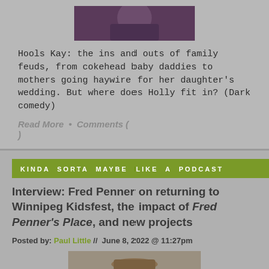[Figure (photo): Partial photo of a person visible at top, cropped]
Hools Kay: the ins and outs of family feuds, from cokehead baby daddies to mothers going haywire for her daughter's wedding. But where does Holly fit in? (Dark comedy)
Read More  •  Comments ( )
KINDA SORTA MAYBE LIKE A PODCAST
Interview: Fred Penner on returning to Winnipeg Kidsfest, the impact of Fred Penner's Place, and new projects
Posted by: Paul Little  //  June 8, 2022 @ 11:27pm
[Figure (photo): Photo of Fred Penner, an elderly man with white beard wearing a hat, smiling]